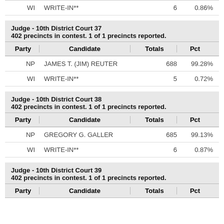| Party | Candidate | Totals | Pct |
| --- | --- | --- | --- |
| WI | WRITE-IN** | 6 | 0.86% |
| Party | Candidate | Totals | Pct |
| --- | --- | --- | --- |
| NP | JAMES T. (JIM) REUTER | 688 | 99.28% |
| WI | WRITE-IN** | 5 | 0.72% |
| Party | Candidate | Totals | Pct |
| --- | --- | --- | --- |
| NP | GREGORY G. GALLER | 685 | 99.13% |
| WI | WRITE-IN** | 6 | 0.87% |
| Party | Candidate | Totals | Pct |
| --- | --- | --- | --- |